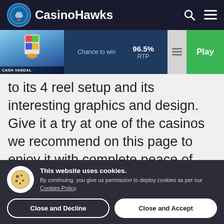CasinoHawks
[Figure (screenshot): Cash Vandal slot game thumbnail with RTP 96.5% info panel and green Play button]
to its 4 reel setup and its interesting graphics and design. Give it a try at one of the casinos we recommend on this page to enjoy it with complete peace of mind, and good luck!
This website uses cookies. By continuing, you give us permission to deploy cookies as per our Cookies Policy.
Close and Decline
Close and Accept